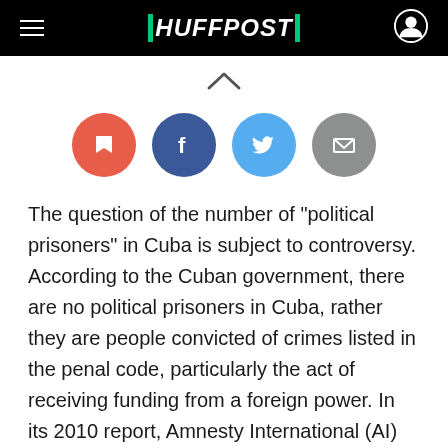HUFFPOST
[Figure (infographic): Social sharing buttons: bookmark (red), Facebook (dark blue), Twitter (light blue), email (gray), arranged in a row with a chevron/up-arrow above]
The question of the number of "political prisoners" in Cuba is subject to controversy. According to the Cuban government, there are no political prisoners in Cuba, rather they are people convicted of crimes listed in the penal code, particularly the act of receiving funding from a foreign power. In its 2010 report, Amnesty International (AI) describes "55 prisoners of conscience,"(1) of whom 20 were released in July 2010, followed by another six on August 15, 2010